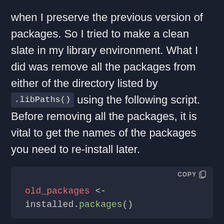when I preserve the previous version of packages. So I tried to make a clean slate in my library environment. What I did was remove all the packages from either of the directory listed by .libPaths() using the following script. Before removing all the packages, it is vital to get the names of the packages you need to re-install later.
[Figure (screenshot): Code block showing R code: old_packages <- installed.packages() with a COPY button in the top right corner]
Without this line, you will lose all the package